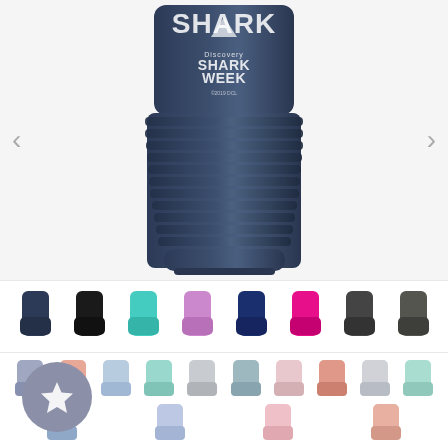[Figure (photo): Close-up of a navy blue insulated tumbler/travel mug with ribbed grip section, featuring a shark graphic and text 'Discovery SHARK WEEK ©2019 DCL' laser engraved in white on the upper portion.]
[Figure (photo): Row of 8 small product thumbnail images showing the same tumbler in different colors: navy, black, teal/cyan, pink/lavender, dark navy, hot pink, dark gray/charcoal, and dark stainless.]
[Figure (photo): Two rows of smaller product thumbnail images showing the tumbler in various pastel and lighter colors including lavender/gray, peach/coral, light blue, mint, light gray, light pink, coral/salmon, and more. A star badge/icon overlay appears in the lower-left area.]